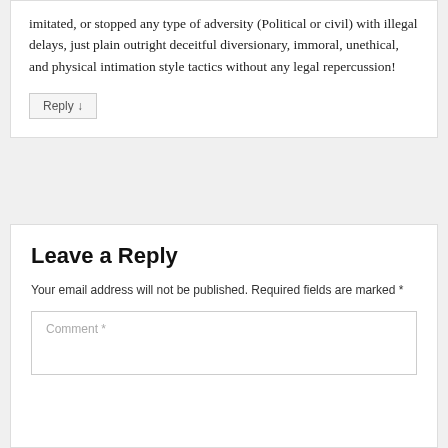imitated, or stopped any type of adversity (Political or civil) with illegal delays, just plain outright deceitful diversionary, immoral, unethical, and physical intimation style tactics without any legal repercussion!
Reply ↓
Leave a Reply
Your email address will not be published. Required fields are marked *
Comment *